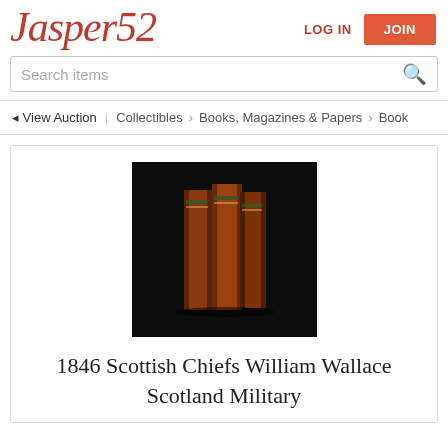Jasper52
LOG IN
JOIN
Search items
◄ View Auction | Collectibles › Books, Magazines & Papers › Book
[Figure (photo): Product photo of antique leather-bound books standing upright against a black background]
1846 Scottish Chiefs William Wallace Scotland Military